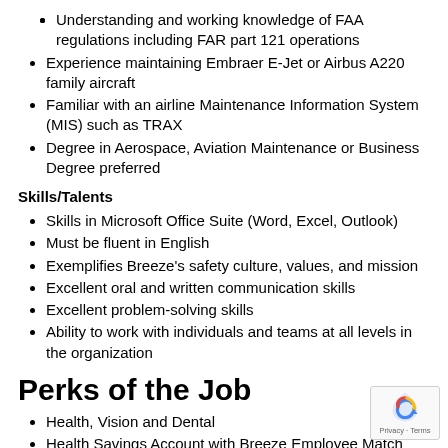Understanding and working knowledge of FAA regulations including FAR part 121 operations
Experience maintaining Embraer E-Jet or Airbus A220 family aircraft
Familiar with an airline Maintenance Information System (MIS) such as TRAX
Degree in Aerospace, Aviation Maintenance or Business Degree preferred
Skills/Talents
Skills in Microsoft Office Suite (Word, Excel, Outlook)
Must be fluent in English
Exemplifies Breeze's safety culture, values, and mission
Excellent oral and written communication skills
Excellent problem-solving skills
Ability to work with individuals and teams at all levels in the organization
Perks of the Job
Health, Vision and Dental
Health Savings Account with Breeze Employee Match